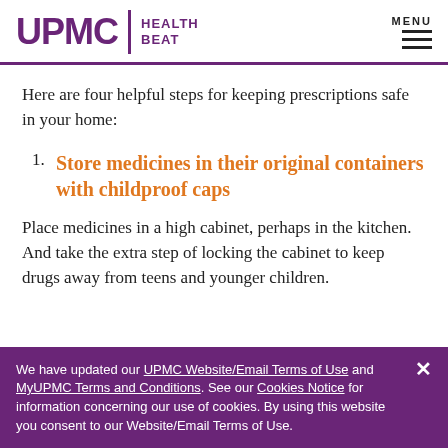UPMC HEALTH BEAT
Here are four helpful steps for keeping prescriptions safe in your home:
1. Store medicines in their original containers with childproof caps
Place medicines in a high cabinet, perhaps in the kitchen. And take the extra step of locking the cabinet to keep drugs away from teens and younger children.
We have updated our UPMC Website/Email Terms of Use and MyUPMC Terms and Conditions. See our Cookies Notice for information concerning our use of cookies. By using this website you consent to our Website/Email Terms of Use.